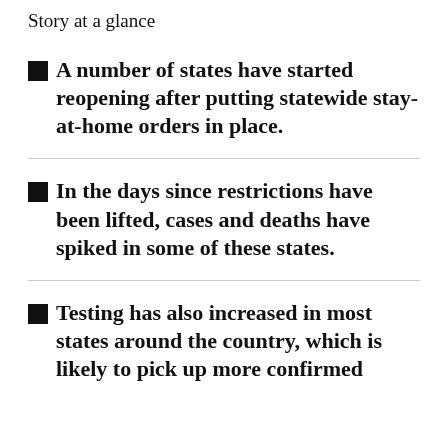Story at a glance
A number of states have started reopening after putting statewide stay-at-home orders in place.
In the days since restrictions have been lifted, cases and deaths have spiked in some of these states.
Testing has also increased in most states around the country, which is likely to pick up more confirmed